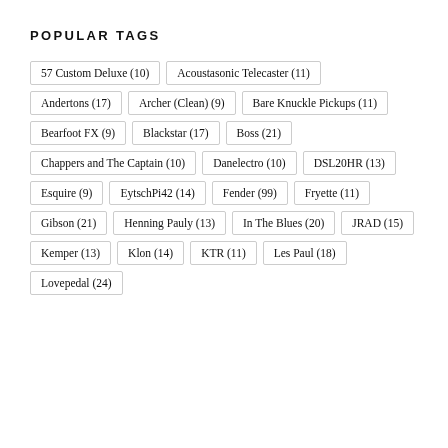POPULAR TAGS
57 Custom Deluxe (10)
Acoustasonic Telecaster (11)
Andertons (17)
Archer (Clean) (9)
Bare Knuckle Pickups (11)
Bearfoot FX (9)
Blackstar (17)
Boss (21)
Chappers and The Captain (10)
Danelectro (10)
DSL20HR (13)
Esquire (9)
EytschPi42 (14)
Fender (99)
Fryette (11)
Gibson (21)
Henning Pauly (13)
In The Blues (20)
JRAD (15)
Kemper (13)
Klon (14)
KTR (11)
Les Paul (18)
Lovepedal (24)